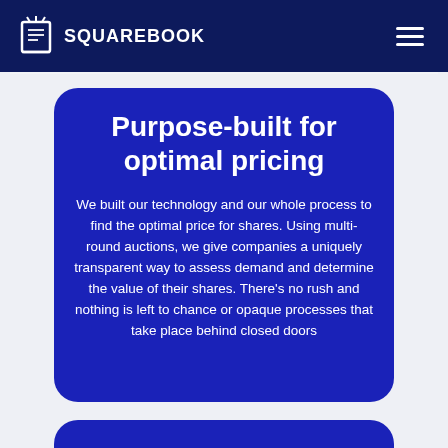SQUAREBOOK
Purpose-built for optimal pricing
We built our technology and our whole process to find the optimal price for shares. Using multi-round auctions, we give companies a uniquely transparent way to assess demand and determine the value of their shares. There's no rush and nothing is left to chance or opaque processes that take place behind closed doors